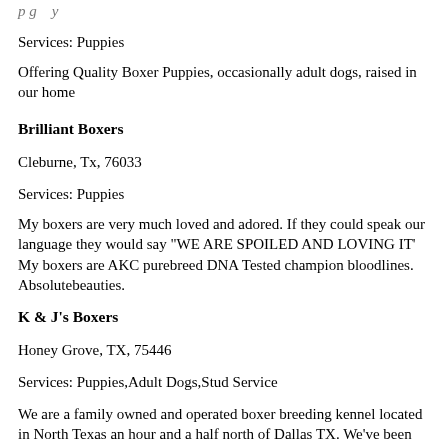Services: Puppies
Offering Quality Boxer Puppies, occasionally adult dogs, raised in our home
Brilliant Boxers
Cleburne, Tx, 76033
Services: Puppies
My boxers are very much loved and adored. If they could speak our language they would say "WE ARE SPOILED AND LOVING IT' My boxers are AKC purebreed DNA Tested champion bloodlines. Absolutebeauties.
K & J's Boxers
Honey Grove, TX, 75446
Services: Puppies,Adult Dogs,Stud Service
We are a family owned and operated boxer breeding kennel located in North Texas an hour and a half north of Dallas TX. We've been